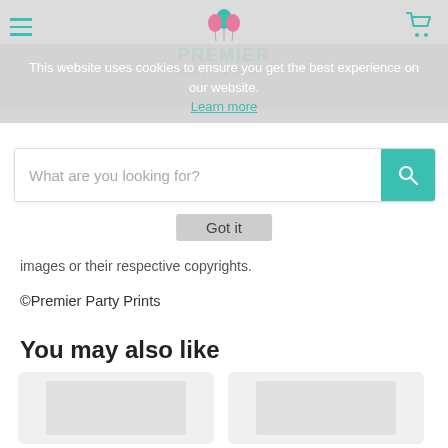Premier Party Prints website header with hamburger menu, logo, and cart icon
This website uses cookies to ensure you get the best experience on our website.
Learn more
What are you looking for?
Got it
images or their respective copyrights.
©Premier Party Prints
You may also like
[Figure (other): Two product thumbnail cards shown partially at bottom of page]